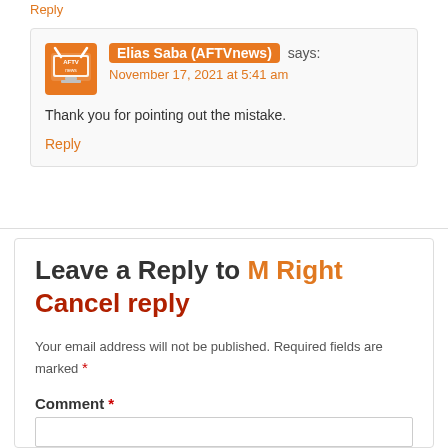Reply
Elias Saba (AFTVnews) says: November 17, 2021 at 5:41 am
Thank you for pointing out the mistake.
Reply
Leave a Reply to M Right Cancel reply
Your email address will not be published. Required fields are marked *
Comment *